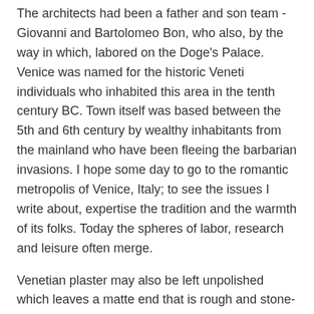The architects had been a father and son team - Giovanni and Bartolomeo Bon, who also, by the way in which, labored on the Doge's Palace. Venice was named for the historic Veneti individuals who inhabited this area in the tenth century BC. Town itself was based between the 5th and 6th century by wealthy inhabitants from the mainland who have been fleeing the barbarian invasions. I hope some day to go to the romantic metropolis of Venice, Italy; to see the issues I write about, expertise the tradition and the warmth of its folks. Today the spheres of labor, research and leisure often merge.
Venetian plaster may also be left unpolished which leaves a matte end that is rough and stone-like. After all, you cannot discuss Venetian style with out mentioning Venetian plaster. The plaster was combined with marble dust and utilized in thin, multiple layers, then polished to a smooth floor. The Venetian style was also used to create lovely interior designs. With a purpose to explore the world of Venetian architecture, 41 Photos And Inspiration Small Kitchen Decor we are going